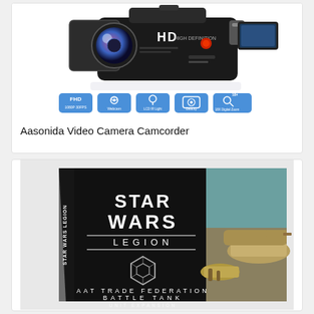[Figure (photo): Photo of an Aasonida HD video camera camcorder with FHD, webcam, LCD IR light, beauty, and 18X digital zoom features shown as icons below the camera]
Aasonida Video Camera Camcorder
[Figure (photo): Photo of Star Wars Legion AAT Trade Federation Battle Tank Unit Expansion board game box, showing black box with Star Wars Legion logo and tank artwork]